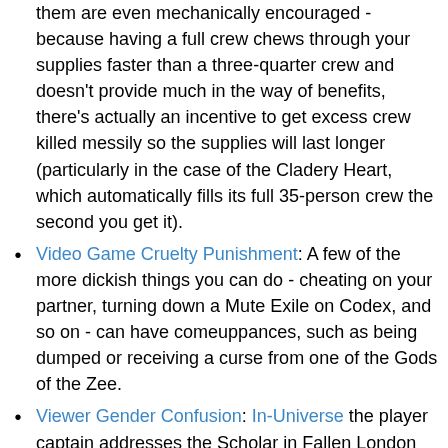(continuation) them are even mechanically encouraged - because having a full crew chews through your supplies faster than a three-quarter crew and doesn't provide much in the way of benefits, there's actually an incentive to get excess crew killed messily so the supplies will last longer (particularly in the case of the Cladery Heart, which automatically fills its full 35-person crew the second you get it).
Video Game Cruelty Punishment: A few of the more dickish things you can do - cheating on your partner, turning down a Mute Exile on Codex, and so on - can have comeuppances, such as being dumped or receiving a curse from one of the Gods of the Zee.
Viewer Gender Confusion: In-Universe the player captain addresses the Scholar in Fallen London as a him (she?). However the player isn't sure she (he?) is a he (she?) and keeps flipflopping between pronouns.
Villain Protagonist: The player, horrifically so, depending on their choices. You can potentially send unsuspecting